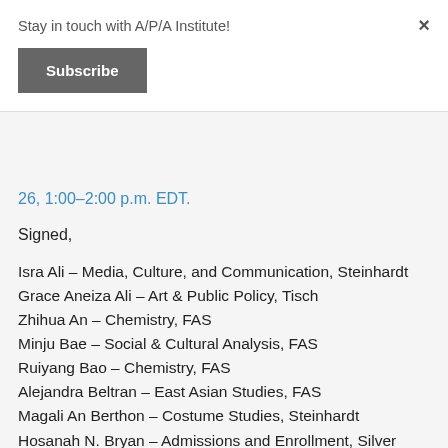Stay in touch with A/P/A Institute!
Subscribe
26, 1:00–2:00 p.m. EDT.
Signed,
Isra Ali – Media, Culture, and Communication, Steinhardt
Grace Aneiza Ali – Art & Public Policy, Tisch
Zhihua An – Chemistry, FAS
Minju Bae – Social & Cultural Analysis, FAS
Ruiyang Bao – Chemistry, FAS
Alejandra Beltran – East Asian Studies, FAS
Magali An Berthon – Costume Studies, Steinhardt
Hosanah N. Bryan – Admissions and Enrollment, Silver
Paula Chakravartty – Gallatin; Media, Culture, and Communication, Steinhardt